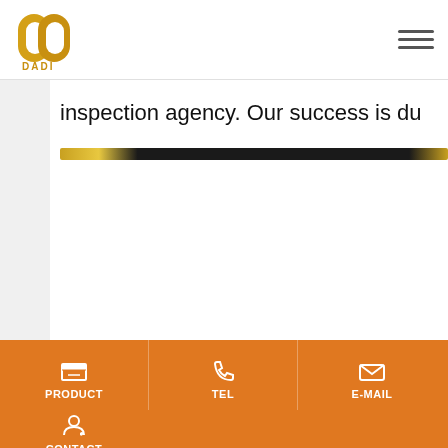DADI logo and navigation
inspection agency. Our success is du
[Figure (other): Decorative gold and black horizontal bar]
PRODUCT | TEL | E-MAIL | CONTACT